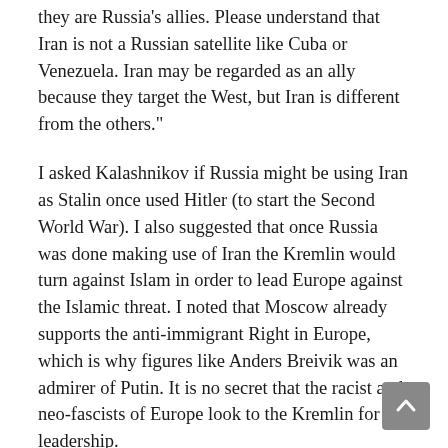they are Russia's allies. Please understand that Iran is not a Russian satellite like Cuba or Venezuela. Iran may be regarded as an ally because they target the West, but Iran is different from the others."
I asked Kalashnikov if Russia might be using Iran as Stalin once used Hitler (to start the Second World War). I also suggested that once Russia was done making use of Iran the Kremlin would turn against Islam in order to lead Europe against the Islamic threat. I noted that Moscow already supports the anti-immigrant Right in Europe, which is why figures like Anders Breivik was an admirer of Putin. It is no secret that the racist and neo-fascists of Europe look to the Kremlin for leadership.
Kalashnikov responded eagerly by saying, "Let me talk about [the neo-fascists] in Hungary. They are pro-Putin. They are nationalists, and of course, they are absolutely anti-Semitic and anti-American. That's right. When I came to Berlin two years ago the taxi driver from the airport said he was pro-Nazi, pro-Hitler and the Jews were to blame for everything. He spoke highly of Putin. And taxi drivers are good barometers. There is sort of a trend at work. But the key thing, you must remember, is Winston